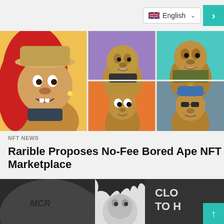English
[Figure (illustration): Grid of Bored Ape NFT cartoon images — apes with various outfits, backgrounds in orange, teal, purple, and blue-grey colors]
NFT NEWS
Rarible Proposes No-Fee Bored Ape NFT Marketplace
[Figure (photo): Black and white photograph showing the back of a head with 'MCR' shaved into it, with a torn paper revealing a monkey face, and partial text 'CLO TO H' on the right]